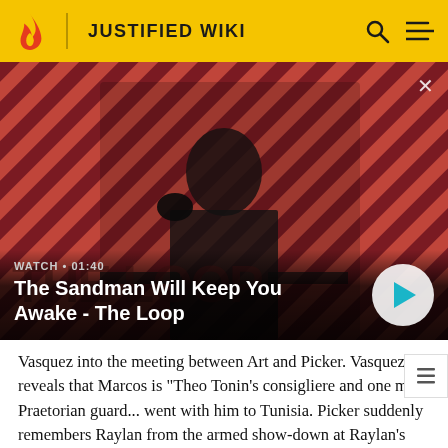JUSTIFIED WIKI
[Figure (screenshot): Video thumbnail showing a man in dark clothing with a raven on his shoulder against a red and dark striped background. Text overlay reads 'WATCH · 01:40' and title 'The Sandman Will Keep You Awake - The Loop'. A circular play button is visible on the right. A close (×) button is at the top right.]
Vasquez into the meeting between Art and Picker. Vasquez reveals that Marcos is "Theo Tonin's consigliere and one man Praetorian guard... went with him to Tunisia. Picker suddenly remembers Raylan from the armed show-down at Raylan's old Evarts High School the